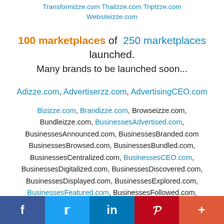Transformizze.com Thalizze.com Triplzze.com Websiteizze.com
100 marketplaces of 250 marketplaces launched. Many brands to be launched soon...
Adizze.com, Advertiserzz.com, AdvertisingCEO.com
Bizizze.com, Brandizze.com, Browseizze.com, Bundleizze.com, BusinessesAdvertised.com, BusinessesAnnounced.com, BusinessesBranded.com BusinessesBrowsed.com, BusinessesBundled.com, BusinessesCentralized.com, BusinessesCEO.com, BusinessesDigitalized.com, BusinessesDiscovered.com, BusinessesDisplayed.com, BusinessesExplored.com, BusinessesFeatured.com, BusinessesFollowed.com, BusinessesFound.com, BusinessesHighlighted.com,
f | t | in | P | +